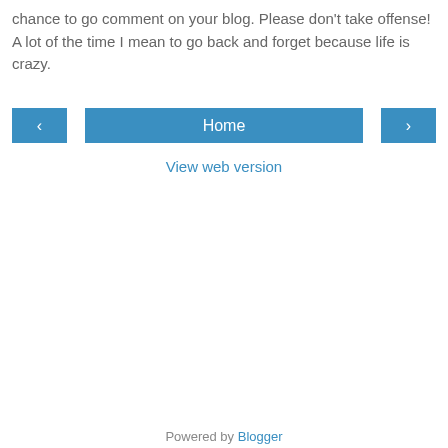chance to go comment on your blog. Please don't take offense! A lot of the time I mean to go back and forget because life is crazy.
‹   Home   ›
View web version
Powered by Blogger